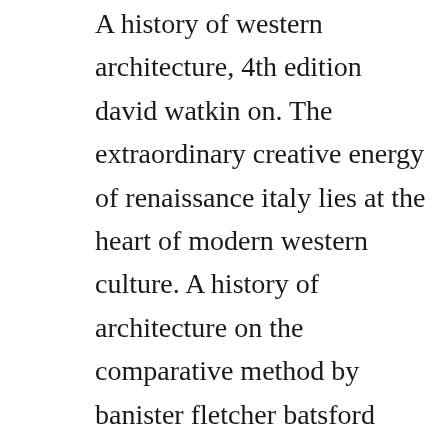A history of western architecture, 4th edition david watkin on. The extraordinary creative energy of renaissance italy lies at the heart of modern western culture. A history of architecture on the comparative method by banister fletcher batsford architecture has been described very truly as the printing press of all ages. A concise history of western architecture by robert. Open library is an initiative of the internet archive, a 501c3 nonprofit, building a digital library of internet sites and other cultural artifacts in digital form. Download a global history of